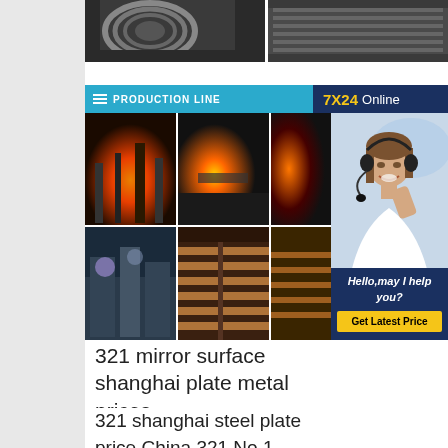[Figure (photo): Two industrial steel product photos at top: left shows steel coils, right shows steel plates/rails in a production facility]
[Figure (photo): Production Line section with header bar showing 'PRODUCTION LINE' in cyan and '7X24 Online' in dark blue. Grid of 6 industrial factory photos showing furnaces, hot metal processing, machinery, and storage racks. Right side shows an online customer support representative with headset and text 'Hello, may I help you?' with a 'Get Latest Price' button.]
321 mirror surface shanghai plate metal prices
321 shanghai steel plate price China 321 No.1 Stainless Steel Plate, 321 No.1